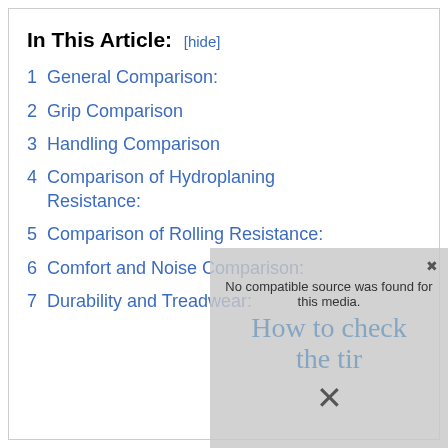In This Article: [hide]
1 General Comparison:
2 Grip Comparison
3 Handling Comparison
4 Comparison of Hydroplaning Resistance:
5 Comparison of Rolling Resistance:
6 Comfort and Noise Comparison:
7 Durability and Treadwear: